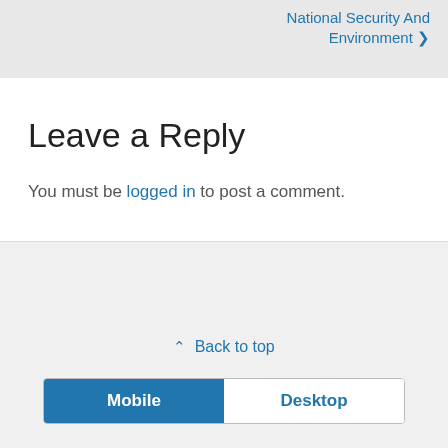National Security And Environment ❯
Leave a Reply
You must be logged in to post a comment.
⌃ Back to top
[Figure (screenshot): Toggle bar with Mobile (selected, blue background) and Desktop (unselected, white background) tabs]
[Figure (illustration): Email envelope icon inside a circle]